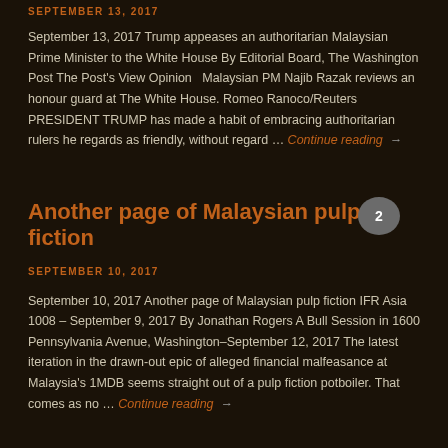SEPTEMBER 13, 2017
September 13, 2017 Trump appeases an authoritarian Malaysian Prime Minister to the White House By Editorial Board, The Washington Post The Post's View Opinion   Malaysian PM Najib Razak reviews an honour guard at The White House. Romeo Ranoco/Reuters PRESIDENT TRUMP has made a habit of embracing authoritarian rulers he regards as friendly, without regard … Continue reading →
Another page of Malaysian pulp fiction
SEPTEMBER 10, 2017
September 10, 2017 Another page of Malaysian pulp fiction IFR Asia 1008 – September 9, 2017 By Jonathan Rogers A Bull Session in 1600 Pennsylvania Avenue, Washington–September 12, 2017 The latest iteration in the drawn-out epic of alleged financial malfeasance at Malaysia's 1MDB seems straight out of a pulp fiction potboiler. That comes as no … Continue reading →